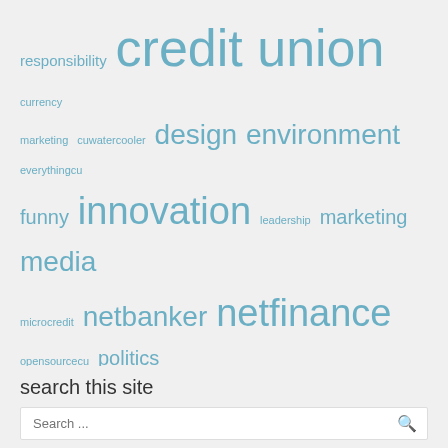[Figure (infographic): Tag cloud with finance/credit union related terms in varying sizes and shades of teal/blue, including: responsibility, credit union, currency, marketing, cuwatercooler, design, environment, everythingcu, funny, innovation, leadership, marketing, media, microcredit, netbanker, netfinance, opensourcecu, politics, poverty, social economy, social media, social personal finance, socialsignal, technology, tinfoiling, underbanked, user experience, vancity, vancouver, video, web, web 2.0]
search this site
Search ...